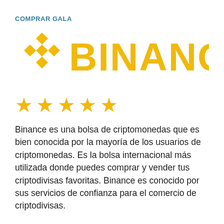COMPRAR GALA
[Figure (logo): Binance logo: golden diamond/chevron icon on the left and the word BINANCE in large golden letters on the right, with five golden stars below]
Binance es una bolsa de criptomonedas que es bien conocida por la mayoría de los usuarios de criptomonedas. Es la bolsa internacional más utilizada donde puedes comprar y vender tus criptodivisas favoritas. Binance es conocido por sus servicios de confianza para el comercio de criptodivisas.